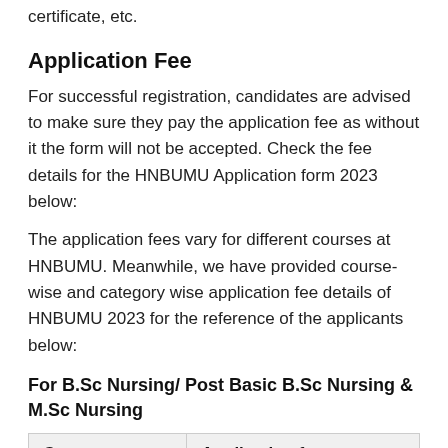certificate, etc.
Application Fee
For successful registration, candidates are advised to make sure they pay the application fee as without it the form will not be accepted. Check the fee details for the HNBUMU Application form 2023 below:
The application fees vary for different courses at HNBUMU. Meanwhile, we have provided course-wise and category wise application fee details of HNBUMU 2023 for the reference of the applicants below:
For B.Sc Nursing/ Post Basic B.Sc Nursing & M.Sc Nursing
| Category | Application fee |
| --- | --- |